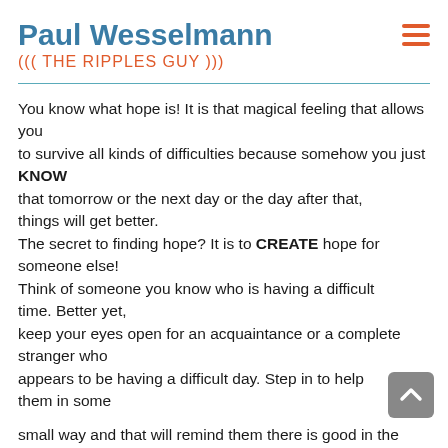Paul Wesselmann
((( THE RIPPLES GUY )))
You know what hope is! It is that magical feeling that allows you
to survive all kinds of difficulties because somehow you just KNOW
that tomorrow or the next day or the day after that, things will get better.
The secret to finding hope? It is to CREATE hope for someone else!
Think of someone you know who is having a difficult time. Better yet,
keep your eyes open for an acquaintance or a complete stranger who
appears to be having a difficult day. Step in to help them in some
small way and that will remind them there is good in the